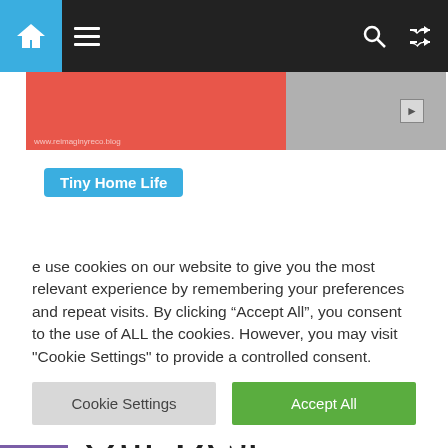[Figure (screenshot): Website navigation bar with home icon, hamburger menu, search and shuffle icons on dark background]
[Figure (photo): Red banner image strip with partial photo on right side]
Tiny Home Life
ow to Grow a arden While ving Full-Time Our Best door Growing
[Figure (screenshot): Purple Contact Us sidebar tab with left arrow navigation button]
e use cookies on our website to give you the most relevant experience by remembering your preferences and repeat visits. By clicking “Accept All”, you consent to the use of ALL the cookies. However, you may visit "Cookie Settings" to provide a controlled consent.
Cookie Settings
Accept All